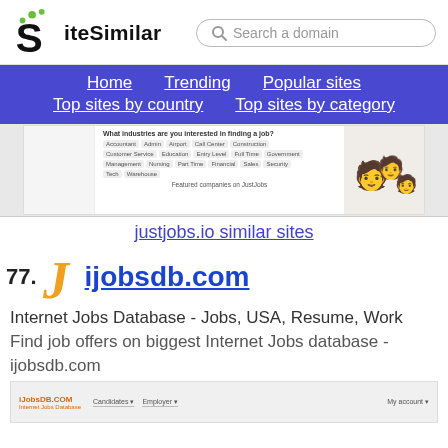SiteSimilar — Search a domain
Home  Trending  Popular sites  Top sites by country  Top sites by category
[Figure (screenshot): Screenshot of justjobs.io website showing job industry filter page]
justjobs.io similar sites
77. ijobsdb.com — Internet Jobs Database - Jobs, USA, Resume, Work. Find job offers on biggest Internet Jobs database - ijobsdb.com
[Figure (screenshot): Screenshot of iJobsDB.COM website header]